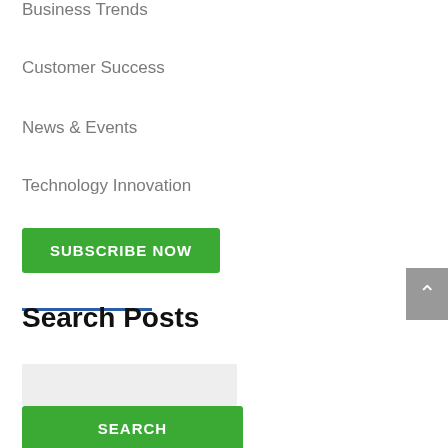Business Trends
Customer Success
News & Events
Technology Innovation
SUBSCRIBE NOW
Search Posts
SEARCH